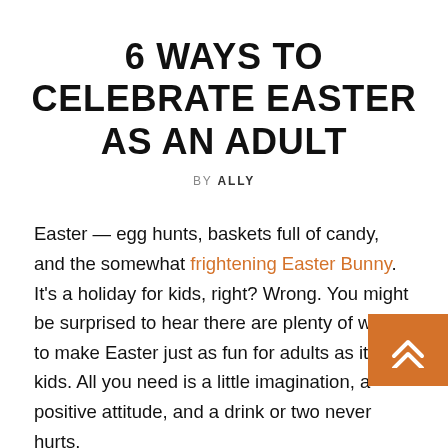6 WAYS TO CELEBRATE EASTER AS AN ADULT
BY ALLY
Easter — egg hunts, baskets full of candy, and the somewhat frightening Easter Bunny.  It's a holiday for kids, right? Wrong. You might be surprised to hear there are plenty of ways to make Easter just as fun for adults as it is for kids. All you need is a little imagination, a positive attitude, and a drink or two never hurts.
If you're struggling to come up with you own ideas, don't sweat it: we've got you covered with six of our favorite ideas from across the web. Just remember you're going to have to